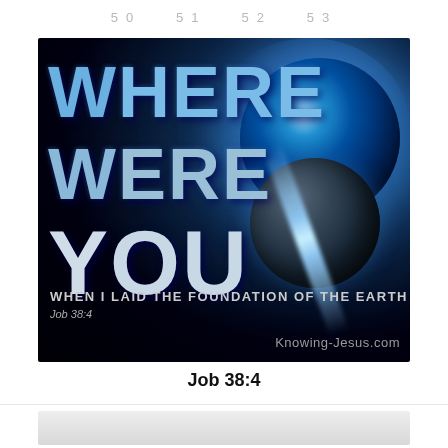50  51  52  53
[Figure (illustration): Dark space background with planet and nebula. Large text reads 'Where Were You / WHEN I LAID THE FOUNDATION OF THE EARTH / Job 38:4' with watermark 'Knowing-Jesus.com']
Job 38:4